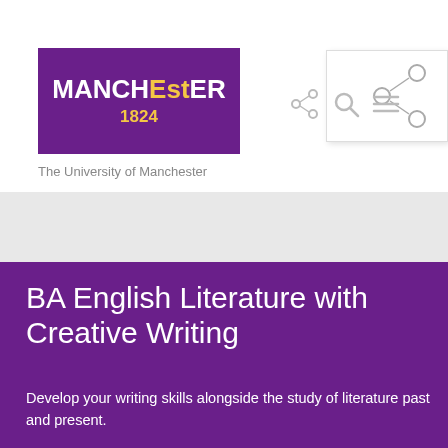[Figure (logo): University of Manchester purple logo with MANCHESTER 1824 text in white and gold]
The University of Manchester
[Figure (screenshot): Navigation icons: share, search, and menu with share popup overlay showing network/share icon]
[Figure (photo): Gray hero banner image area]
BA English Literature with Creative Writing
Develop your writing skills alongside the study of literature past and present.